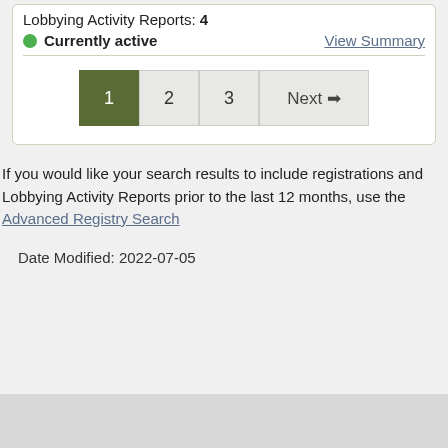Lobbying Activity Reports: 4
Currently active   View Summary
1  2  3  Next →
If you would like your search results to include registrations and Lobbying Activity Reports prior to the last 12 months, use the Advanced Registry Search
Date Modified: 2022-07-05